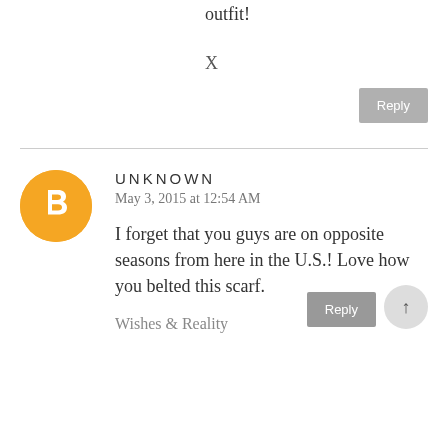outfit!
X
Reply
UNKNOWN
May 3, 2015 at 12:54 AM
I forget that you guys are on opposite seasons from here in the U.S.! Love how you belted this scarf.
Wishes & Reality
Reply